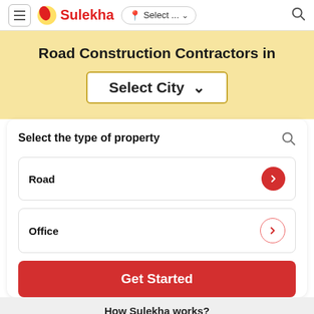≡ Sulekha | Select ... ▾ 🔍
Road Construction Contractors in Select City ▾
Select the type of property
Road
Office
Get Started
How Sulekha works?